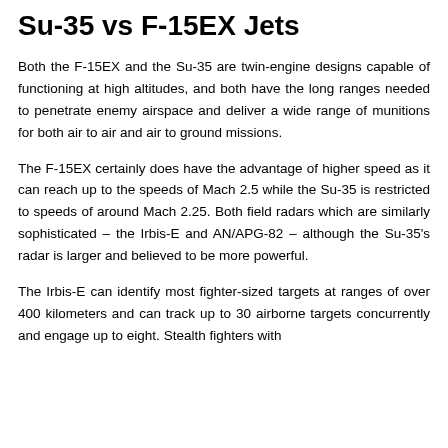Su-35 vs F-15EX Jets
Both the F-15EX and the Su-35 are twin-engine designs capable of functioning at high altitudes, and both have the long ranges needed to penetrate enemy airspace and deliver a wide range of munitions for both air to air and air to ground missions.
The F-15EX certainly does have the advantage of higher speed as it can reach up to the speeds of Mach 2.5 while the Su-35 is restricted to speeds of around Mach 2.25. Both field radars which are similarly sophisticated – the Irbis-E and AN/APG-82 – although the Su-35's radar is larger and believed to be more powerful.
The Irbis-E can identify most fighter-sized targets at ranges of over 400 kilometers and can track up to 30 airborne targets concurrently and engage up to eight. Stealth fighters with